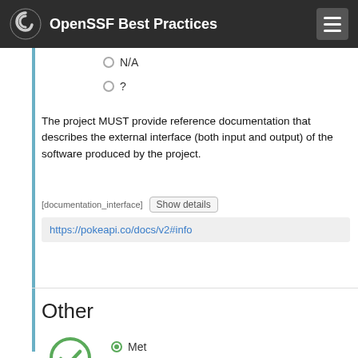OpenSSF Best Practices
N/A
?
The project MUST provide reference documentation that describes the external interface (both input and output) of the software produced by the project.
[documentation_interface]
https://pokeapi.co/docs/v2#info
Other
Met
Unmet
?